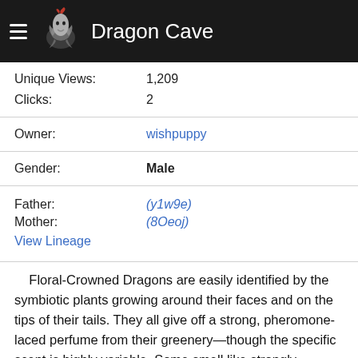Dragon Cave
Unique Views: 1,209
Clicks: 2
Owner: wishpuppy
Gender: Male
Father: (y1w9e)
Mother: (8Oeoj)
View Lineage
Floral-Crowned Dragons are easily identified by the symbiotic plants growing around their faces and on the tips of their tails. They all give off a strong, pheromone-laced perfume from their greenery—though the specific scent is highly variable. Some smell like strongly scented flowers, some have an almost fruity smell, and others may even smell like freshly cut hay. These dragons are friendly and social, and maintain familial and friendly bonds by giving gifts and mutual grooming. Although they choose a new mate every year, they become invested in courtship and pair bonding